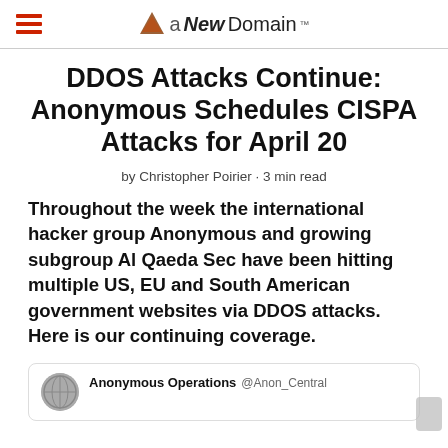aNewDomain
DDOS Attacks Continue: Anonymous Schedules CISPA Attacks for April 20
by Christopher Poirier · 3 min read
Throughout the week the international hacker group Anonymous and growing subgroup Al Qaeda Sec have been hitting multiple US, EU and South American government websites via DDOS attacks. Here is our continuing coverage.
Anonymous Operations @Anon_Central